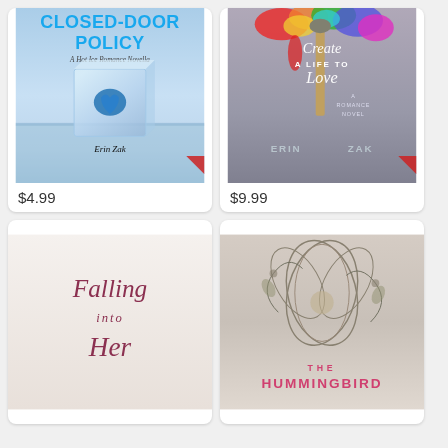[Figure (illustration): Book cover: Closed-Door Policy - A Hot Ice Romance Novella by Erin Zak. Blue title text on icy blue background with an ice cube containing a blue heart.]
$4.99
[Figure (illustration): Book cover: Create A Life To Love - A Romance Novel by Erin Zak. Colorful paint splashes and brushes on dark background with white and silver text.]
$9.99
[Figure (illustration): Book cover: Falling Into Her. Cursive rose-colored title text on pale background.]
[Figure (illustration): Book cover: The Hummingbird. Pink bold title text with floral botanical illustration on light background.]